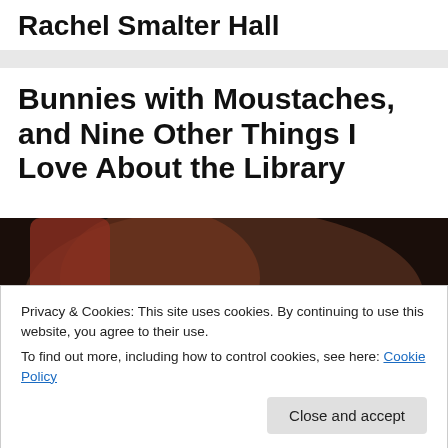Rachel Smalter Hall
Bunnies with Moustaches, and Nine Other Things I Love About the Library
[Figure (photo): Blurred photo of a bunny or soft animal, with warm brown and beige tones, dark background at top.]
Privacy & Cookies: This site uses cookies. By continuing to use this website, you agree to their use.
To find out more, including how to control cookies, see here: Cookie Policy
Close and accept